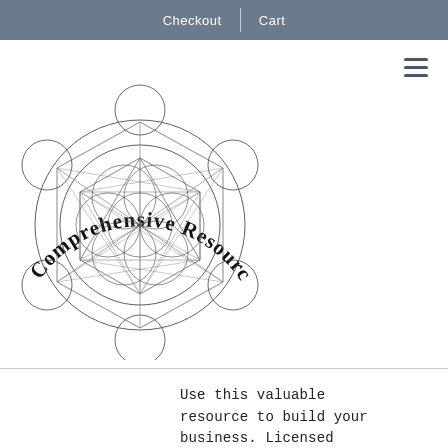Checkout | Cart
[Figure (logo): Comprehensive Resource Model logo — sacred geometry / Metatron's Cube with text arched over the top reading 'Comprehensive Resource Model']
Use this valuable resource to build your business. Licensed